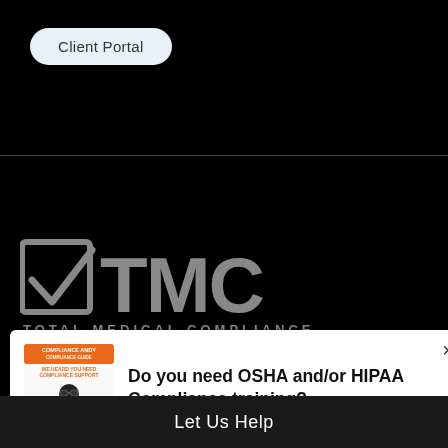[Figure (screenshot): Client Portal button on black background — rounded pill-shaped button with light blue-gray fill and text 'Client Portal']
[Figure (logo): TMC Total Medical Compliance logo — checkmark in a square box followed by large bold gray text 'TMC' and smaller text 'TOTAL MEDICAL COMPLIANCE' below, all on black background]
[Figure (illustration): Compliance Andy mascot image — small cartoon figure of a person in a suit with sunglasses, with text 'COMPLIANCE ANDY' and 'WE HEARD YOU NEED COMPLIANCE SUPPORT' above]
Do you need OSHA and/or HIPAA Compliance training?
Let Us Help